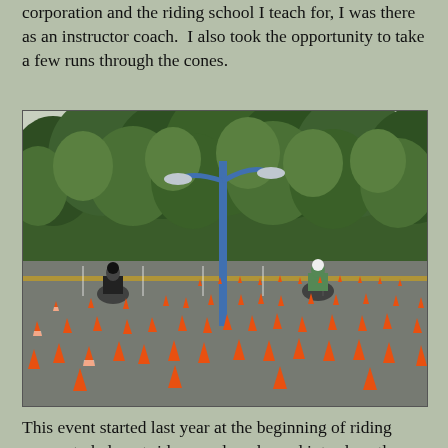corporation and the riding school I teach for, I was there as an instructor coach.  I also took the opportunity to take a few runs through the cones.
[Figure (photo): Outdoor parking lot motorcycle training area with many orange traffic cones arranged in patterns on the asphalt. Two motorcyclists are visible in the background near a blue double-headed street light pole. Dense green trees line the background.]
This event started last year at the beginning of riding season to help get riders road ready, and introduce them to the